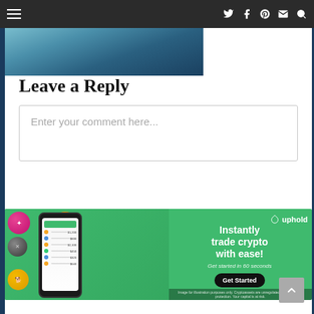Navigation bar with hamburger menu and social icons (Twitter, Facebook, Pinterest, Email, Search)
[Figure (photo): Partial photo of a person visible at top of page]
Leave a Reply
Enter your comment here...
[Figure (infographic): Uphold advertisement banner: Instantly trade crypto with ease! Get started in 60 seconds. Get Started button. Image for illustration purposes only. Cryptoassets are unregulated. No consumer protection. Your capital is at risk.]